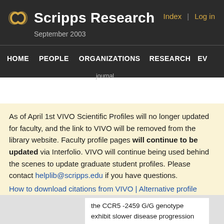Scripps Research — Index | Log in — September 2003
HOME | PEOPLE | ORGANIZATIONS | RESEARCH | EV — journal
As of April 1st VIVO Scientific Profiles will no longer updated for faculty, and the link to VIVO will be removed from the library website. Faculty profile pages will continue to be updated via Interfolio. VIVO will continue being used behind the scenes to update graduate student profiles. Please contact helplib@scripps.edu if you have questions.
How to download citations from VIVO | Alternative profile options
the CCR5 -2459 G/G genotype exhibit slower disease progression than those with the A/A genotype. Mechanisms underlying the relationship between these polymorphisms and disease progression are not known. Here